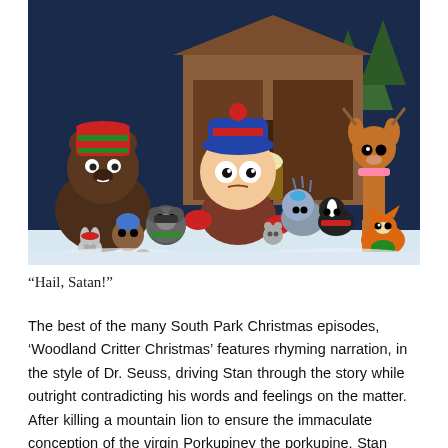[Figure (photo): South Park animated scene showing Stan Marsh surrounded by cute woodland critter animals in a snowy nativity scene setting with a wooden stable in the background.]
“Hail, Satan!”
The best of the many South Park Christmas episodes, ‘Woodland Critter Christmas’ features rhyming narration, in the style of Dr. Seuss, driving Stan through the story while outright contradicting his words and feelings on the matter. After killing a mountain lion to ensure the immaculate conception of the virgin Porkupiney the porkupine, Stan quickly learns these adorable animals’ savior is actually the spawn of Satan. After all, who else would have sex